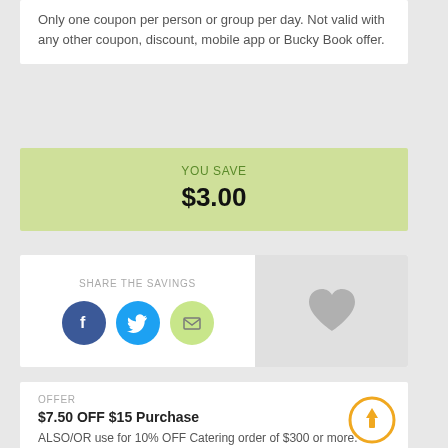Only one coupon per person or group per day. Not valid with any other coupon, discount, mobile app or Bucky Book offer.
YOU SAVE
$3.00
SHARE THE SAVINGS
[Figure (infographic): Social share icons: Facebook (blue circle with f), Twitter (cyan circle with bird), Email (light green circle with envelope)]
[Figure (illustration): Gray heart icon on light gray background]
OFFER
$7.50 OFF $15 Purchase
ALSO/OR use for 10% OFF Catering order of $300 or more. Minimum purchase amount must be reached without tax...
[Figure (infographic): Gold/orange circle with upward arrow icon]